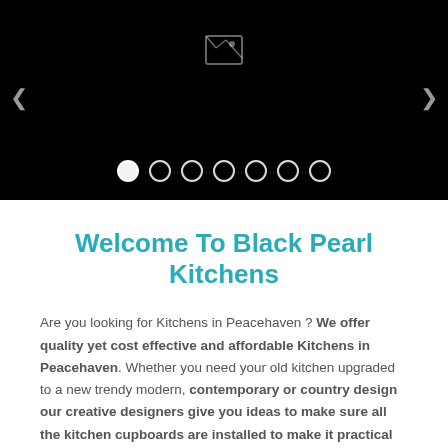[Figure (screenshot): Black slideshow/carousel area with navigation arrows and dot indicators at bottom. Currently showing a broken image icon. Seven dots shown with first dot filled/active.]
Welcome To Black Pearl Kitchens
Are you looking for Kitchens in Peacehaven ? We offer quality yet cost effective and affordable Kitchens in Peacehaven. Whether you need your old kitchen upgraded to a new trendy modern, contemporary or country design our creative designers give you ideas to make sure all the kitchen cupboards are installed to make it practical and with ample packing easy to access space.
From melamine kitchens, wrap door finishes to Seno board